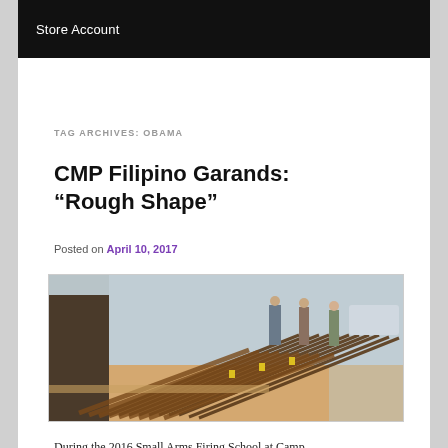Store Account
TAG ARCHIVES: OBAMA
CMP Filipino Garands: “Rough Shape”
Posted on April 10, 2017
[Figure (photo): Rows of M1 Garand rifles laid out on tables outdoors, with people standing in the background]
During the 2016 Small Arms Firing School at Camp